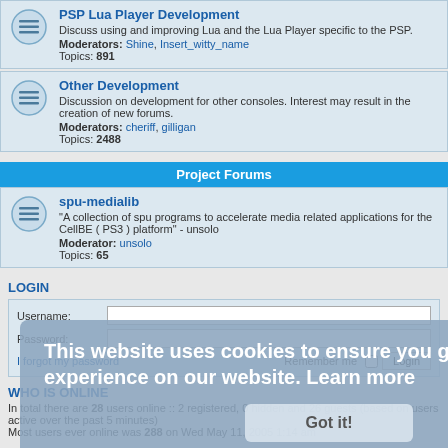PSP Lua Player Development
Discuss using and improving Lua and the Lua Player specific to the PSP. Moderators: Shine, Insert_witty_name Topics: 891
Other Development
Discussion on development for other consoles. Interest may result in the creation of new forums. Moderators: cheriff, gilligan Topics: 2488
Project Forums
spu-medialib
"A collection of spu programs to accelerate media related applications for the CellBE ( PS3 ) platform" - unsolo Moderator: unsolo Topics: 65
LOGIN
Username: Password: I forgot my password Remember me Login
WHO IS ONLINE
In total there are 28 users online :: 2 registered, 0 hidden and 26 guests (based on users active over the past 5 minutes) Most users ever online was 288 on Wed May 11, 2005 1:14 am
This website uses cookies to ensure you get the best experience on our website. Learn more Got it!